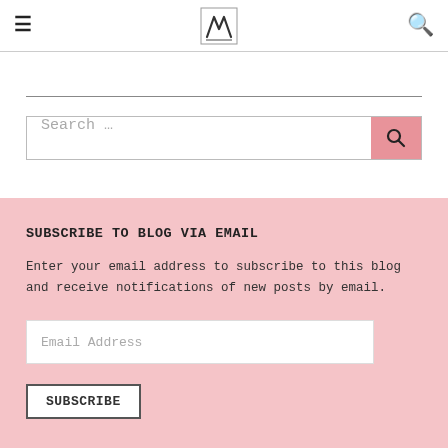≡  [logo]  🔍
Search …
SUBSCRIBE TO BLOG VIA EMAIL
Enter your email address to subscribe to this blog and receive notifications of new posts by email.
Email Address
SUBSCRIBE